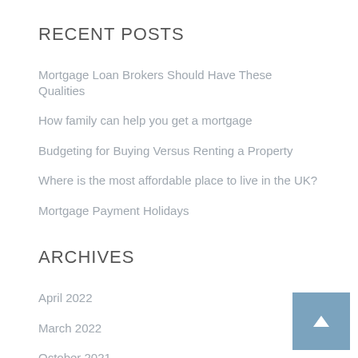RECENT POSTS
Mortgage Loan Brokers Should Have These Qualities
How family can help you get a mortgage
Budgeting for Buying Versus Renting a Property
Where is the most affordable place to live in the UK?
Mortgage Payment Holidays
ARCHIVES
April 2022
March 2022
October 2021
April 2021
November 2020